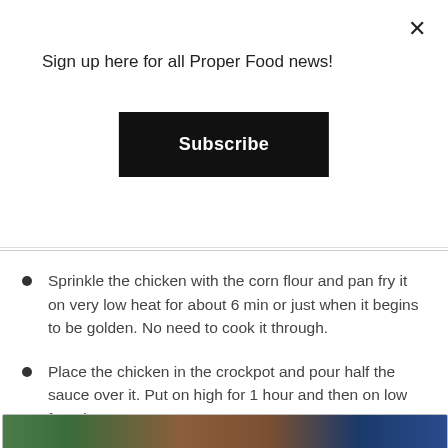Sign up here for all Proper Food news!
Subscribe
Sprinkle the chicken with the corn flour and pan fry it on very low heat for about 6 min or just when it begins to be golden. No need to cook it through.
Place the chicken in the crockpot and pour half the sauce over it. Put on high for 1 hour and then on low for 2 hours.
Add the rest of the sauce and leave it on low for another 20 min. Serve on white basmati rice or chinese sticky rice.
Shred some scallions and sprinkle sesame seeds on top.
[Figure (photo): Partial view of a food photograph at the bottom of the page, showing colorful ingredients/dish.]